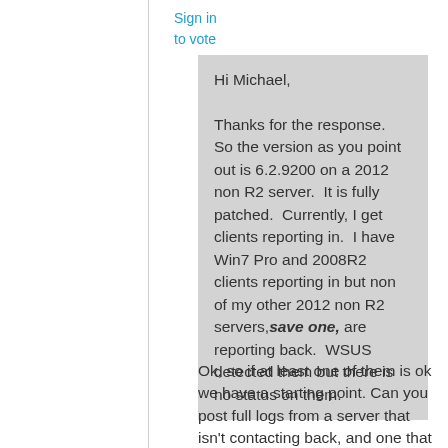Sign in
to vote
Hi Michael,

Thanks for the response.  So the version as you point out is 6.2.9200 on a 2012 non R2 server.  It is fully patched.  Currently, I get clients reporting in.  I have Win7 Pro and 2008R2 clients reporting in but non of my other 2012 non R2 servers, save one, are reporting back.  WSUS detected them but there is no status on them.
Ok, so if at least one of them is ok we have a starting point. Can you post full logs from a server that isn't contacting back, and one that